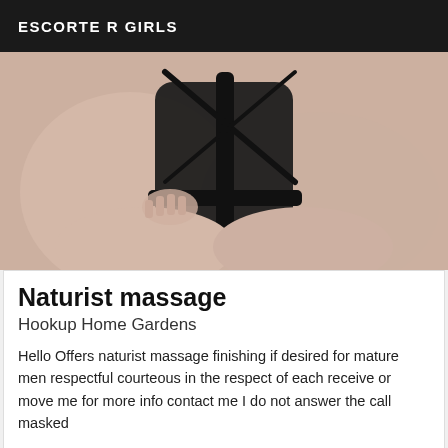ESCORTE R GIRLS
[Figure (photo): Photo showing a person wearing black lingerie, torso/lower body visible]
Naturist massage
Hookup Home Gardens
Hello Offers naturist massage finishing if desired for mature men respectful courteous in the respect of each receive or move me for more info contact me I do not answer the call masked
[Figure (photo): Partial photo showing skin tones in warm orange/brown colors, bottom of page]